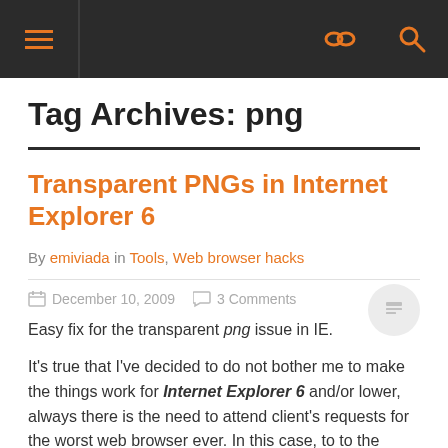Navigation bar with hamburger menu, link icon, and search icon
Tag Archives: png
Transparent PNGs in Internet Explorer 6
By emiviada in Tools, Web browser hacks
December 10, 2009   3 Comments
Easy fix for the transparent png issue in IE.
It's true that I've decided to do not bother me to make the things work for Internet Explorer 6 and/or lower, always there is the need to attend client's requests for the worst web browser ever. In this case, to to the problem with